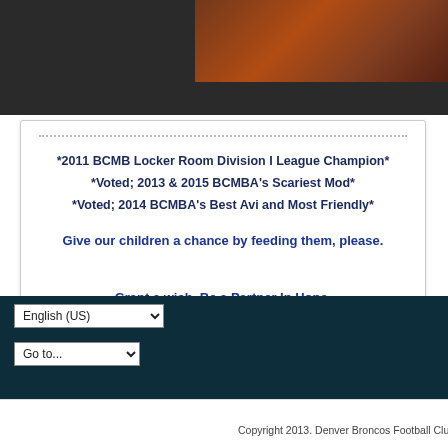[Figure (photo): Partial view of a dark background with a food/sports image partially visible in the upper right]
*2011 BCMB Locker Room Division I League Champion* *Voted; 2013 & 2015 BCMBA's Scariest Mod* *Voted; 2014 BCMBA's Best Avi and Most Friendly*

Give our children a chance by feeding them, please.

Grant a wish. Be a Partner In Hope.
Previous  1  2
English (US)  Go to...  Copyright 2013. Denver Broncos Football Club